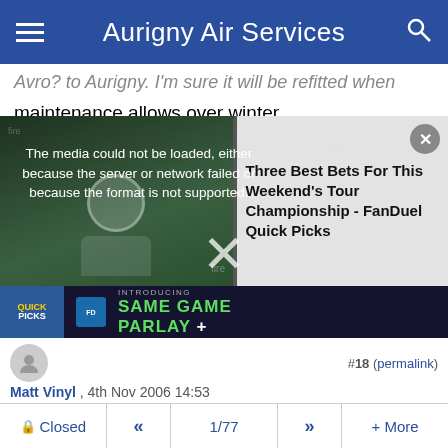Aurigny Air Services
maintenance allows over winter.
[Figure (screenshot): Video player overlay showing media error message: 'The media could not be loaded, either because the server or network failed or because the format is not supported.' With video title 'Three Best Bets For This Weekend's Tour Championship - FanDuel Quick Picks' and a FanDuel Same Game Parlay+ advertisement banner. An X close button is visible.]
Matt Vinyl , 4th Nov 2006 14:53
The Shed and TCAS
GBALU53
G BPFN certainly used to have a TCAS fitted.................
I think you'll find that it is the lack of Enhanced GPWS that will ground the Shed in Europe, as from January 2007, but I guess it may end up flying around Africa for its final fling.
Closed  «  1/77  »  + More